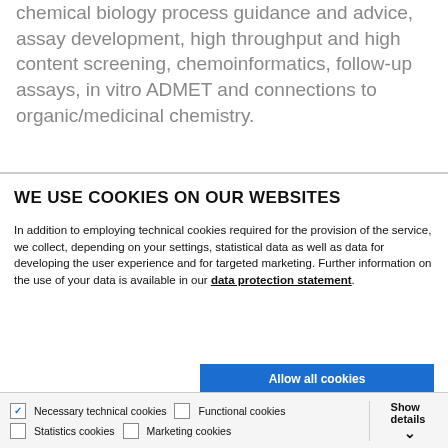chemical biology process guidance and advice, assay development, high throughput and high content screening, chemoinformatics, follow-up assays, in vitro ADMET and connections to organic/medicinal chemistry.
WE USE COOKIES ON OUR WEBSITES
In addition to employing technical cookies required for the provision of the service, we collect, depending on your settings, statistical data as well as data for developing the user experience and for targeted marketing. Further information on the use of your data is available in our data protection statement.
Allow all cookies
Allow selection
Use necessary cookies only
Necessary technical cookies   Functional cookies   Statistics cookies   Marketing cookies   Show details